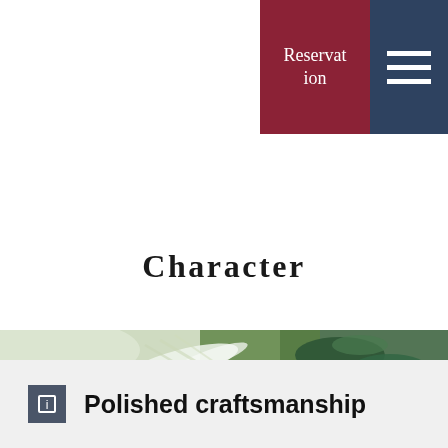Reservation
Character
[Figure (photo): Close-up photo of fresh vegetables including green leafy herbs and white onion/fennel slices on a light background, used as a decorative food banner.]
Polished craftsmanship